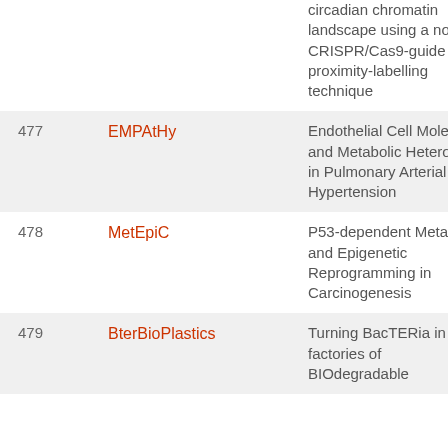| # | Project Name | Description |
| --- | --- | --- |
|  |  | circadian chromatin landscape using a novel CRISPR/Cas9-guided proximity-labelling technique |
| 477 | EMPAtHy | Endothelial Cell Molecular and Metabolic Heterogeneity in Pulmonary Arterial Hypertension |
| 478 | MetEpiC | P53-dependent Metabolic and Epigenetic Reprogramming in Carcinogenesis |
| 479 | BterBioPlastics | Turning BacTERia into factories of BIOdegradable |